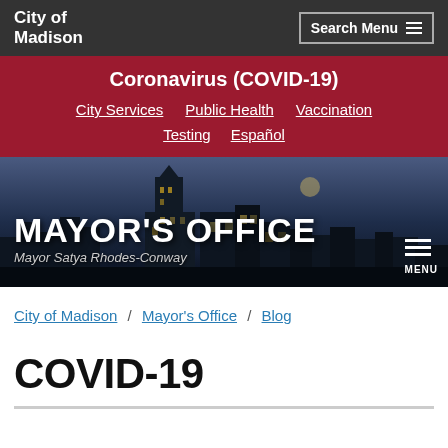City of Madison
Coronavirus (COVID-19)
City Services
Public Health
Vaccination
Testing
Español
[Figure (photo): City of Madison skyline at dusk/night with dark sky and city buildings silhouette]
MAYOR'S OFFICE
Mayor Satya Rhodes-Conway
City of Madison / Mayor's Office / Blog
COVID-19